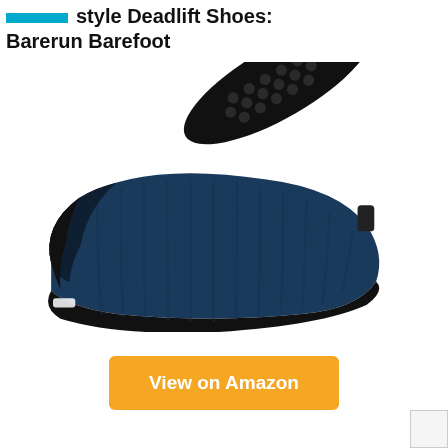style Deadlift Shoes: Barerun Barefoot
[Figure (photo): Product photo of Barerun Barefoot water shoes in navy blue with black rubber sole featuring hexagonal grip pattern. Two shoes shown: one displaying the sole and one showing the upper in a crossed arrangement against white background.]
View on Amazon